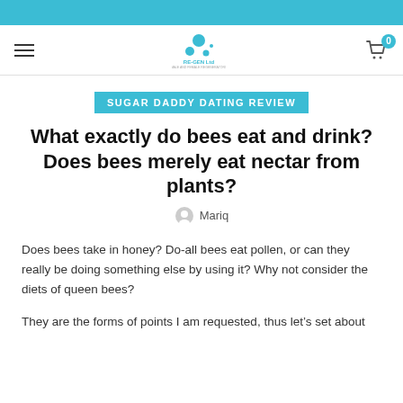RE-GEN Ltd – website header with hamburger menu, logo, and cart icon (0 items)
SUGAR DADDY DATING REVIEW
What exactly do bees eat and drink? Does bees merely eat nectar from plants?
Mariq
Does bees take in honey? Do-all bees eat pollen, or can they really be doing something else by using it? Why not consider the diets of queen bees?
They are the forms of points I am requested, thus let's set about